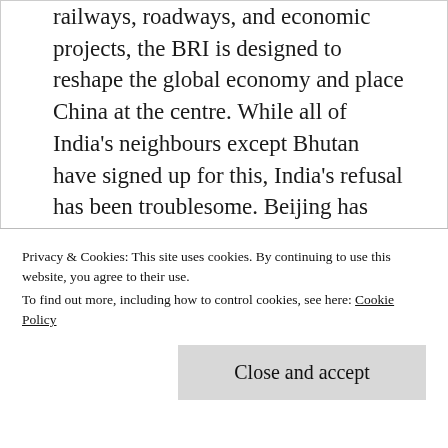railways, roadways, and economic projects, the BRI is designed to reshape the global economy and place China at the centre. While all of India's neighbours except Bhutan have signed up for this, India's refusal has been troublesome. Beijing has already had to remove from the overall plan the Bangladesh-China-India-Myanmar Corridor, one of the seven economic corridors supposed to hold the BRI in place.

China is also uncomfortable with India's growing relations with the US. The relationship that started developing since the late 1990s crossed the threshold of a strategic relationship with the civil nuclear deal in 2005. It now involves collaborations across
Privacy & Cookies: This site uses cookies. By continuing to use this website, you agree to their use.
To find out more, including how to control cookies, see here: Cookie Policy
United Nations Security Council and the Nuclear